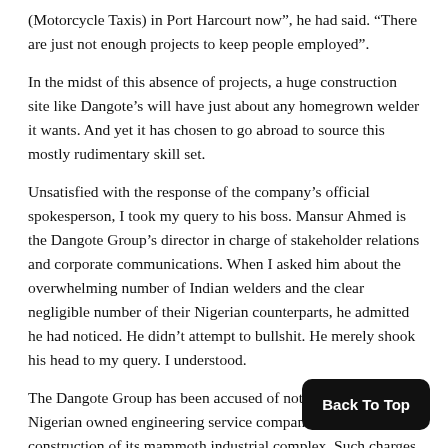(Motorcycle Taxis) in Port Harcourt now”, he had said. “There are just not enough projects to keep people employed”.
In the midst of this absence of projects, a huge construction site like Dangote’s will have just about any homegrown welder it wants. And yet it has chosen to go abroad to source this mostly rudimentary skill set.
Unsatisfied with the response of the company’s official spokesperson, I took my query to his boss. Mansur Ahmed is the Dangote Group’s director in charge of stakeholder relations and corporate communications. When I asked him about the overwhelming number of Indian welders and the clear negligible number of their Nigerian counterparts, he admitted he had noticed. He didn’t attempt to bullshit. He merely shook his head to my query. I understood.
The Dangote Group has been accused of not involving Nigerian owned engineering service companies in the construction of its mammoth industrial complex. Such charges have been dismissed by company consultants who argue that the country lacks enough capacity in the requisite areas.
“Before construction is done, we’ve already started to hand over”, said